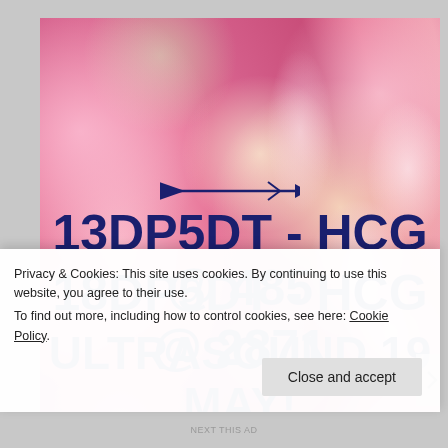[Figure (photo): Bokeh background image with pink/red heart-shaped bokeh lights. Contains an arrow graphic and bold dark navy text reading: 13DP5DT - HCG @ 485 / 18DP5DT - HCG @ 2871 / ULTRASOUND 19 MAY!]
Privacy & Cookies: This site uses cookies. By continuing to use this website, you agree to their use.
To find out more, including how to control cookies, see here: Cookie Policy
Close and accept